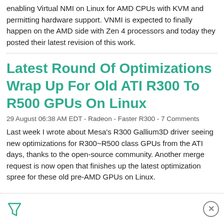enabling Virtual NMI on Linux for AMD CPUs with KVM and permitting hardware support. VNMI is expected to finally happen on the AMD side with Zen 4 processors and today they posted their latest revision of this work.
Latest Round Of Optimizations Wrap Up For Old ATI R300 To R500 GPUs On Linux
29 August 06:38 AM EDT - Radeon - Faster R300 - 7 Comments
Last week I wrote about Mesa's R300 Gallium3D driver seeing new optimizations for R300~R500 class GPUs from the ATI days, thanks to the open-source community. Another merge request is now open that finishes up the latest optimization spree for these old pre-AMD GPUs on Linux.
[Figure (other): Advertisement bar with a green filter/funnel icon on the left and a close (X) button on the right]